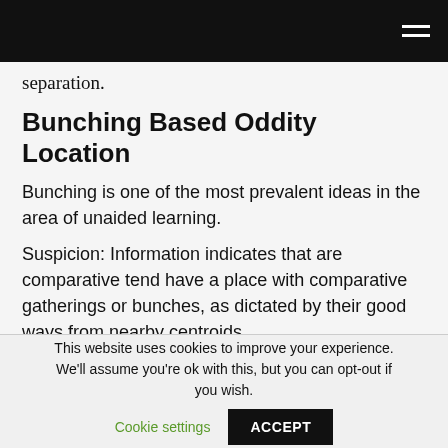separation.
Bunching Based Oddity Location
Bunching is one of the most prevalent ideas in the area of unaided learning.
Suspicion: Information indicates that are comparative tend have a place with comparative gatherings or bunches, as dictated by their good ways from nearby centroids.
This website uses cookies to improve your experience. We'll assume you're ok with this, but you can opt-out if you wish. Cookie settings ACCEPT